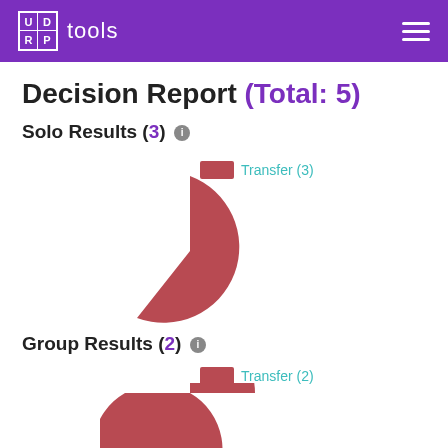UDRP tools
Decision Report (Total: 5)
Solo Results (3)
[Figure (pie-chart): Solo Results]
Group Results (2)
[Figure (pie-chart): Group Results]